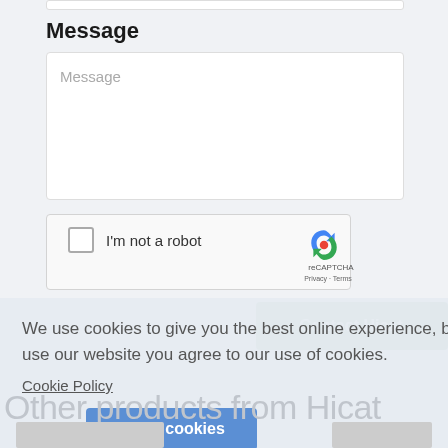Message
Message
[Figure (screenshot): reCAPTCHA widget with checkbox labelled 'I'm not a robot', reCAPTCHA branding logo, Privacy and Terms links]
Contact Hicat
We use cookies to give you the best online experience, by continuing to use our website you agree to our use of cookies.
Cookie Policy
Got it!
Allow cookies
Other products from Hicat
[Figure (photo): Partial product image at bottom left]
[Figure (photo): Partial product image at bottom right]